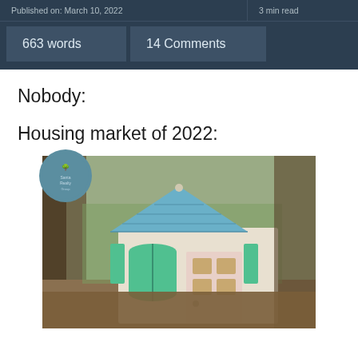Published on: March 10, 2022 | 3 min read
663 words   14 Comments
Nobody:
Housing market of 2022:
[Figure (photo): A children's plastic playhouse with blue roof, green shuttered window, and pink door with windows, situated outdoors among trees and dry leaves. A circular watermark logo is overlaid in the upper left corner.]